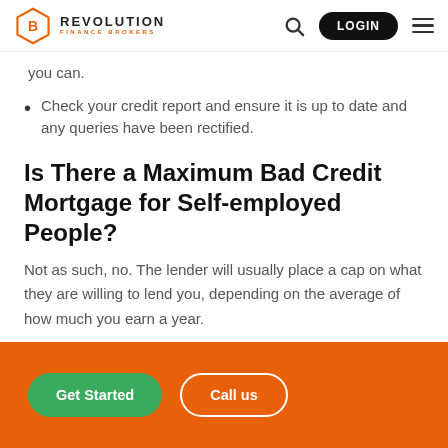Revolution Finance Brokers — LOGIN
you can.
Check your credit report and ensure it is up to date and any queries have been rectified.
Is There a Maximum Bad Credit Mortgage for Self-employed People?
Not as such, no. The lender will usually place a cap on what they are willing to lend you, depending on the average of how much you earn a year.
The standard multiple is around 4.5 times, although